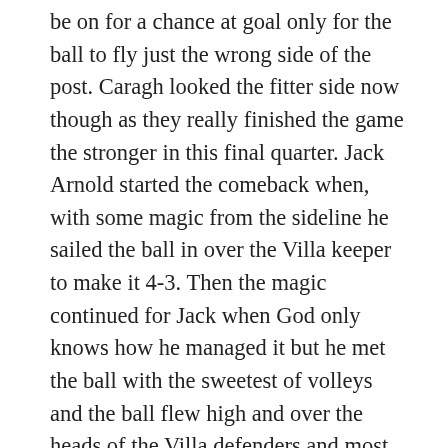be on for a chance at goal only for the ball to fly just the wrong side of the post. Caragh looked the fitter side now though as they really finished the game the stronger in this final quarter. Jack Arnold started the comeback when, with some magic from the sideline he sailed the ball in over the Villa keeper to make it 4-3. Then the magic continued for Jack when God only knows how he managed it but he met the ball with the sweetest of volleys and the ball flew high and over the heads of the Villa defenders and most importantly that of their keeper and into the net to level the match. Both teams were going for the win now and Caragh keeper Aaron Conway was called into to action to keep it level – but the wind was out of the sails of this home side now as the attempt at goal was meagre and all the keeper had to do was pick up the ball and this he did and presented it to land at the feet of Brian Merrigan and the Jack Arnold style chip was employed by Brian Merrigan but the keeper was on to this one and out for a corner. However, the Jack Arnold style chip was later taken on by the over impressive Ben Morrell and